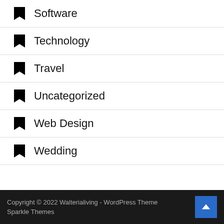Software
Technology
Travel
Uncategorized
Web Design
Wedding
Copyright © 2022 Walterialiving - WordPress Theme Sparkle Themes